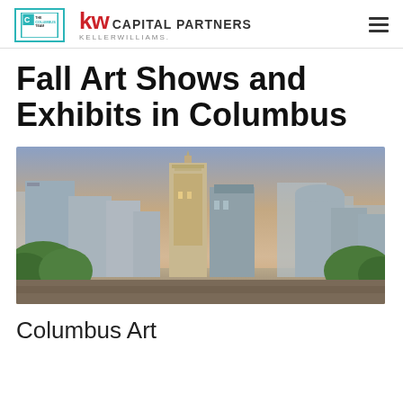The Columbus Team | KW Capital Partners Keller Williams
Fall Art Shows and Exhibits in Columbus
[Figure (photo): Columbus Ohio city skyline at dusk with tall buildings including a distinctive Art Deco tower, green trees in foreground, gradient sky in background]
Columbus Art